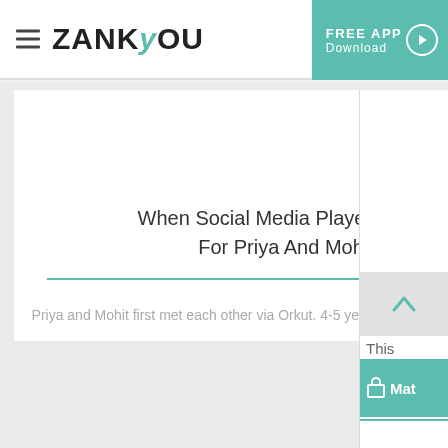ZANKYOU — FREE APP Download
[Figure (screenshot): Article card image area (white/blank)]
When Social Media Played Cupid For Priya And Mohit
11-Nov-2018
Priya and Mohit first met each other via Orkut. 4-5 years of friendship turned into...
[Figure (screenshot): Right sidebar partial card — 'This Mat' label with teal background and scroll-up button]